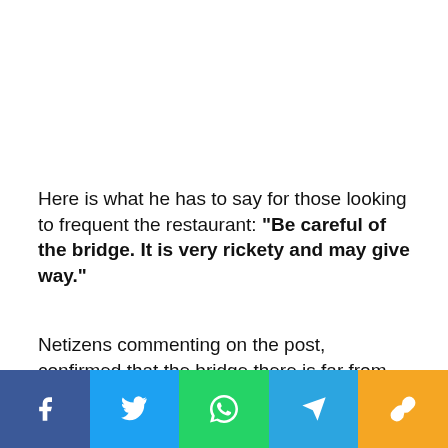Here is what he has to say for those looking to frequent the restaurant: “Be careful of the bridge. It is very rickety and may give way.”
Netizens commenting on the post, confirmed that the bridge there is far from safe.
[Figure (infographic): Social media share bar with five buttons: Facebook (blue), Twitter (light blue), WhatsApp (green), Telegram (sky blue), Link/copy (yellow/orange). Each button shows a white icon.]